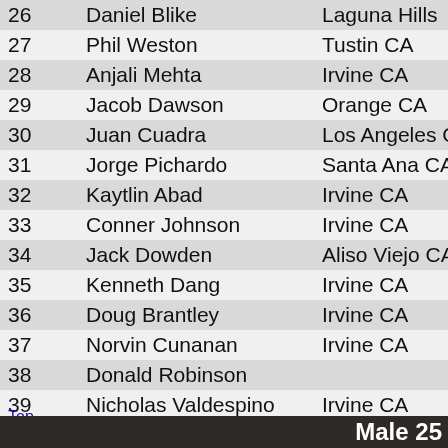| # | Name | City |
| --- | --- | --- |
| 26 | Daniel Blike | Laguna Hills |
| 27 | Phil Weston | Tustin CA |
| 28 | Anjali Mehta | Irvine CA |
| 29 | Jacob Dawson | Orange CA |
| 30 | Juan Cuadra | Los Angeles C |
| 31 | Jorge Pichardo | Santa Ana CA |
| 32 | Kaytlin Abad | Irvine CA |
| 33 | Conner Johnson | Irvine CA |
| 34 | Jack Dowden | Aliso Viejo CA |
| 35 | Kenneth Dang | Irvine CA |
| 36 | Doug Brantley | Irvine CA |
| 37 | Norvin Cunanan | Irvine CA |
| 38 | Donald Robinson |  |
| 39 | Nicholas Valdespino | Irvine CA |
| 40 | Carter Evans | Irvine CA |
| 41 | Jordan King | Newport Bea |
Top
Male 25